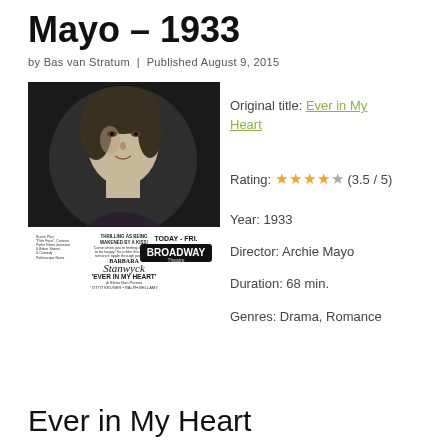Mayo – 1933
by Bas van Stratum  |  Published August 9, 2015
[Figure (photo): Black and white movie poster for 'Ever in My Heart' (1933) featuring Barbara Stanwyck, with a circular portrait photo and Broadway theater information.]
Original title: Ever in My Heart
Rating: ★★★★★ (3.5 / 5)
Year: 1933
Director: Archie Mayo
Duration: 68 min.
Genres: Drama, Romance
Ever in My Heart